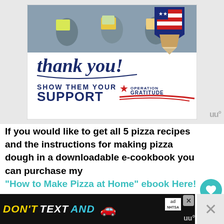[Figure (illustration): Operation Gratitude advertisement showing soldiers holding thank-you cards with 'Thank you! Show them your support' text and Operation Gratitude logo with patriotic pencil illustration]
If you would like to get all 5 pizza recipes and the instructions for making pizza dough in a downloadable e-cookbook you can purchase my "How to Make Pizza at Home" ebook Here!
[Figure (illustration): Bottom advertisement banner: DON'T TEXT AND [car icon] with NHTSA ad badge]